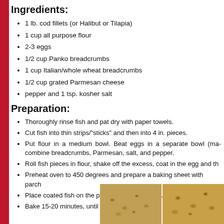Ingredients:
1 lb. cod fillets (or Halibut or Tilapia)
1 cup all purpose flour
2-3 eggs
1/2 cup Panko breadcrumbs
1 cup Italian/whole wheat breadcrumbs
1/2 cup grated Parmesan cheese
pepper and 1 tsp. kosher salt
Preparation:
Thoroughly rinse fish and pat dry with paper towels.
Cut fish into thin strips/"sticks" and then into 4 in. pieces.
Put flour in a medium bowl. Beat eggs in a separate bowl (ma... combine breadcrumbs, Parmesan, salt, and pepper.
Roll fish pieces in flour, shake off the excess, coat in the egg and th...
Preheat oven to 450 degrees and prepare a baking sheet with parch...
Place coated fish on the prepared baking sheet. Spray tops with no...
Bake 15-20 minutes, until golden brown.
[Figure (photo): Two photos of breaded fish sticks/pieces on a baking sheet, showing golden brown breaded coating]